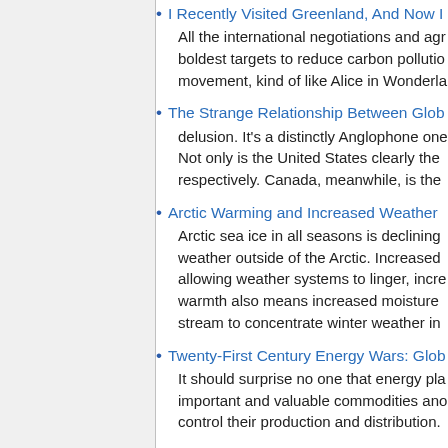I Recently Visited Greenland, And Now I
All the international negotiations and agr boldest targets to reduce carbon pollutio movement, kind of like Alice in Wonderla
The Strange Relationship Between Glob delusion. It's a distinctly Anglophone one Not only is the United States clearly the respectively. Canada, meanwhile, is the
Arctic Warming and Increased Weather Arctic sea ice in all seasons is declining weather outside of the Arctic. Increased allowing weather systems to linger, incre warmth also means increased moisture stream to concentrate winter weather in
Twenty-First Century Energy Wars: Glob It should surprise no one that energy pla important and valuable commodities ano control their production and distribution.